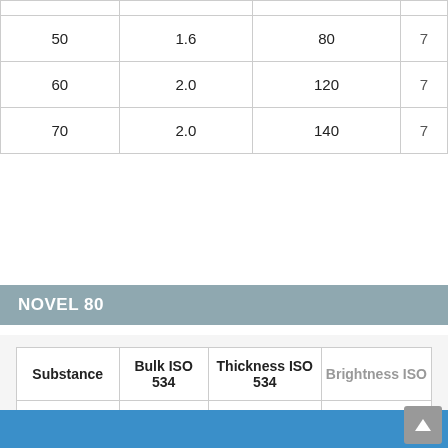| Substance | Bulk ISO 534 | Thickness ISO 534 | Brightness ISO |
| --- | --- | --- | --- |
|  |  |  |  |
| 50 | 1.6 | 80 |  |
| 60 | 2.0 | 120 |  |
| 70 | 2.0 | 140 |  |
NOVEL 80
| Substance | Bulk ISO 534 | Thickness ISO 534 | Brightness ISO |
| --- | --- | --- | --- |
| g/m² | cm³/g | µm |  |
| 56 | 2.0 | 112 | 8 |